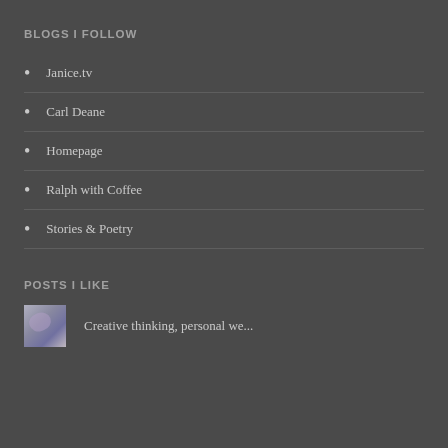BLOGS I FOLLOW
Janice.tv
Carl Deane
Homepage
Ralph with Coffee
Stories & Poetry
POSTS I LIKE
Creative thinking, personal we...